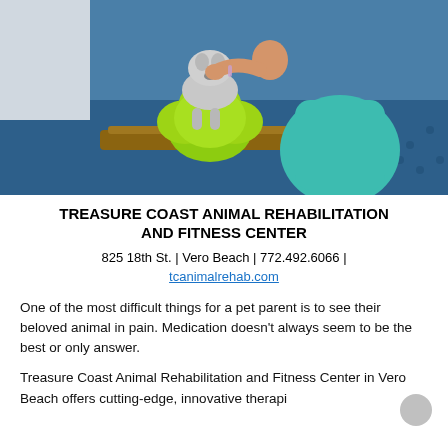[Figure (photo): A small fluffy gray dog standing on a green balance/fitness platform on a wooden board. A person in teal/turquoise scrubs is kneeling beside the dog, steadying it. The floor is a blue padded mat.]
TREASURE COAST ANIMAL REHABILITATION AND FITNESS CENTER
825 18th St. | Vero Beach | 772.492.6066 | tcanimalrehab.com
One of the most difficult things for a pet parent is to see their beloved animal in pain. Medication doesn't always seem to be the best or only answer.
Treasure Coast Animal Rehabilitation and Fitness Center in Vero Beach offers cutting-edge, innovative therapies...